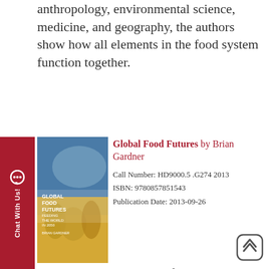anthropology, environmental science, medicine, and geography, the authors show how all elements in the food system function together.
[Figure (illustration): Book cover of 'Global Food Futures' showing wheat field imagery]
Global Food Futures by Brian Gardner
Call Number: HD9000.5 .G274 2013
ISBN: 9780857851543
Publication Date: 2013-09-26
By 2050 the world will be faced with the enormous challenge of feeding 9 billion people despite being affected by climate change, rising energy costs and pressure on food growing land and other major resources. How will the world produce 70% more food by 2050